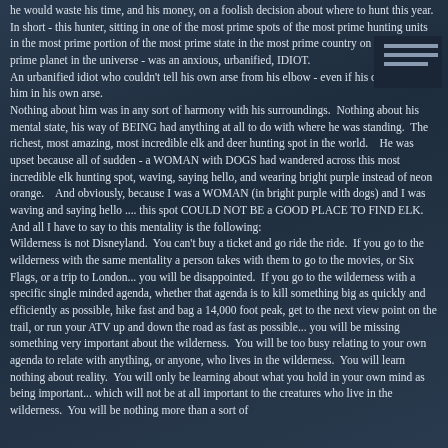he would waste his time, and his money, on a foolish decision about where to hunt this year.  In short - this hunter, sitting in one of the most prime spots of the most prime hunting units in the most prime portion of the most prime state in the most prime country on the most prime planet in the universe - was an anxious, urbanified, IDIOT.
An urbanified idiot who couldn't tell his own arse from his elbow - even if his own elbow bit him in his own arse.
Nothing about him was in any sort of harmony with his surroundings.  Nothing about his mental state, his way of BEING had anything at all to do with where he was standing.  The richest, most amazing, most incredible elk and deer hunting spot in the world.    He was upset because all of sudden - a WOMAN with DOGS had wandered across this most incredible elk hunting spot, waving, saying hello, and wearing bright purple instead of neon orange.    And obviously, because I was a WOMAN (in bright purple with dogs) and I was waving and saying hello .... this spot COULD NOT BE a GOOD PLACE TO FIND ELK.
And all I have to say to this mentality is the following:
Wilderness is not Disneyland.  You can't buy a ticket and go ride the ride.  If you go to the wilderness with the same mentality a person takes with them to go to the movies, or Six Flags, or a trip to London... you will be disappointed.  If you go to the wilderness with a specific single minded agenda, whether that agenda is to kill something big as quickly and efficiently as possible, hike fast and bag a 14,000 foot peak, get to the next view point on the trail, or run your ATV up and down the road as fast as possible... you will be missing something very important about the wilderness.  You will be too busy relating to your own agenda to relate with anything, or anyone, who lives in the wilderness.  You will learn nothing about reality.  You will only be learning about what you hold in your own mind as being important... which will not be at all important to the creatures who live in the wilderness.  You will be nothing more than a sort of